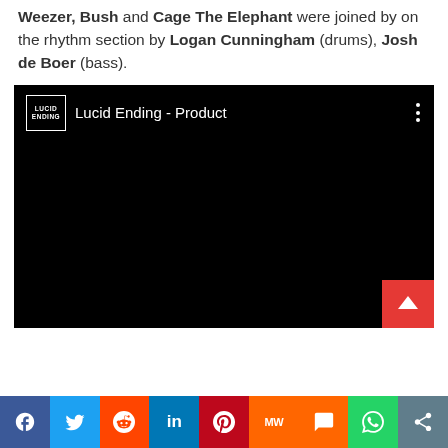Weezer, Bush and Cage The Elephant were joined by on the rhythm section by Logan Cunningham (drums), Josh de Boer (bass).
[Figure (screenshot): Embedded video player with black background showing 'Lucid Ending - Product' with the Lucid Ending channel logo on left and three-dot menu on right. A red scroll-to-top button appears in the bottom-right corner.]
[Figure (infographic): Social media sharing bar with icons for Facebook, Twitter, Reddit, LinkedIn, Pinterest, MW, Mix, WhatsApp, and a share button.]